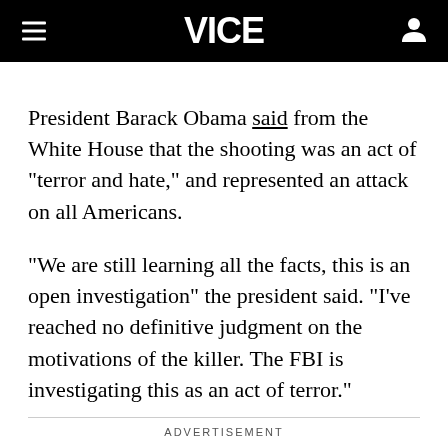VICE
President Barack Obama said from the White House that the shooting was an act of "terror and hate," and represented an attack on all Americans.
"We are still learning all the facts, this is an open investigation" the president said. "I've reached no definitive judgment on the motivations of the killer. The FBI is investigating this as an act of terror."
ADVERTISEMENT